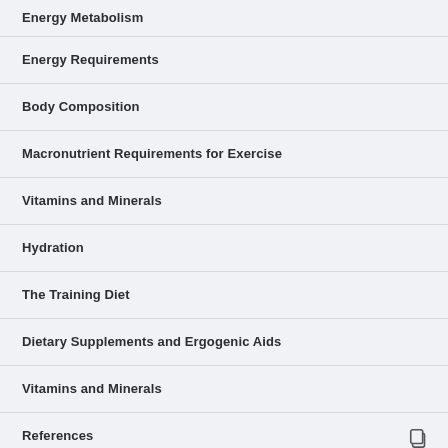Energy Metabolism
Energy Requirements
Body Composition
Macronutrient Requirements for Exercise
Vitamins and Minerals
Hydration
The Training Diet
Dietary Supplements and Ergogenic Aids
Vitamins and Minerals
References